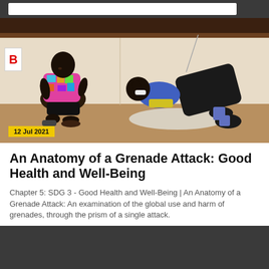[Figure (photo): Two people sitting on a floor against a wall. One person is sitting upright wearing a colorful floral shirt, the other is lying on their side. Indoor setting with bare walls and floor.]
12 Jul 2021
An Anatomy of a Grenade Attack: Good Health and Well-Being
Chapter 5: SDG 3 - Good Health and Well-Being | An Anatomy of a Grenade Attack: An examination of the global use and harm of grenades, through the prism of a single attack.